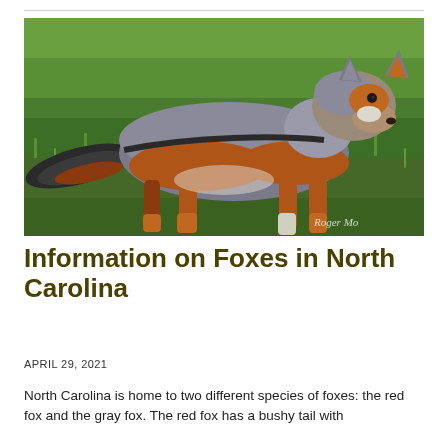[Figure (photo): A gray fox standing on green grass, facing slightly to the right, with orange-tinted fur on its sides and legs, a gray back, and a black-tipped tail. A watermark reading 'Roger Mo' is visible in the lower right corner.]
Information on Foxes in North Carolina
APRIL 29, 2021
North Carolina is home to two different species of foxes: the red fox and the gray fox. The red fox has a bushy tail with